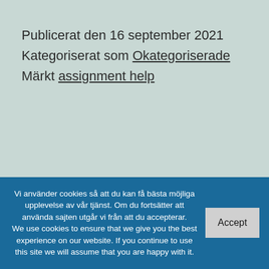Publicerat den 16 september 2021
Kategoriserat som Okategoriserade
Märkt assignment help
Vi använder cookies så att du kan få bästa möjliga upplevelse av vår tjänst. Om du fortsätter att använda sajten utgår vi från att du accepterar.
We use cookies to ensure that we give you the best experience on our website. If you continue to use this site we will assume that you are happy with it.